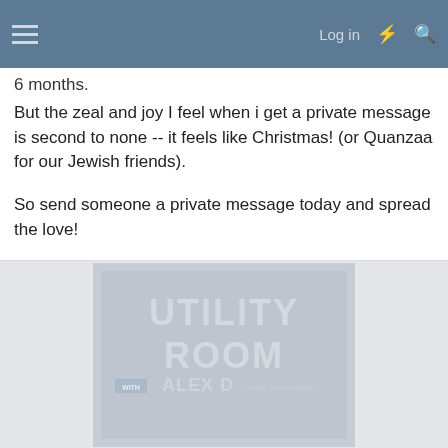Log in
6 months.
But the zeal and joy I feel when i get a private message is second to none -- it feels like Christmas! (or Quanzaa for our Jewish friends).
So send someone a private message today and spread the love!
[Figure (photo): Utility Room promotional image featuring large text 'UTILITY ROOM' with 'WITH ALEX D (TRIBE MAGAZINE)' and streaming platform logos for Apple Music, Spotify, and YouTube, shown in a faded/washed out style]